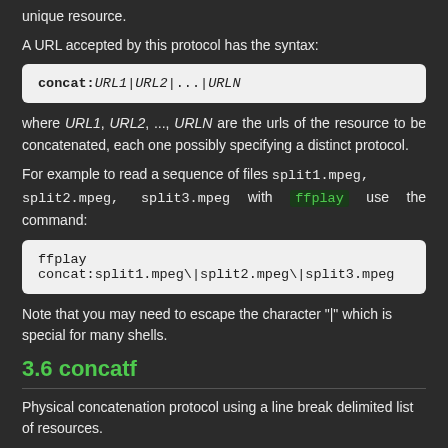unique resource.
A URL accepted by this protocol has the syntax:
[Figure (other): Code block showing: concat:URL1|URL2|...|URLN]
where URL1, URL2, ..., URLN are the urls of the resource to be concatenated, each one possibly specifying a distinct protocol.
For example to read a sequence of files split1.mpeg, split2.mpeg, split3.mpeg with ffplay use the command:
[Figure (other): Code block showing: ffplay concat:split1.mpeg\|split2.mpeg\|split3.mpeg]
Note that you may need to escape the character "|" which is special for many shells.
3.6 concatf
Physical concatenation protocol using a line break delimited list of resources.
Read and seek from many resources in sequence as if they were...